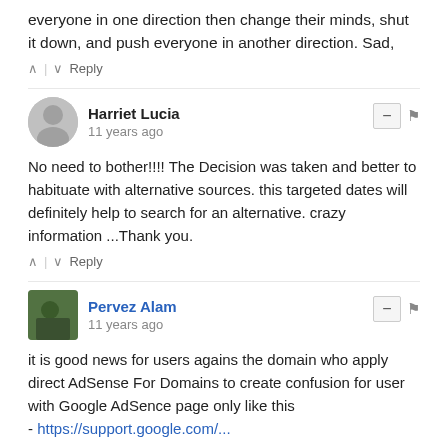everyone in one direction then change their minds, shut it down, and push everyone in another direction. Sad,
^ | v Reply
Harriet Lucia
11 years ago
No need to bother!!!! The Decision was taken and better to habituate with alternative sources. this targeted dates will definitely help to search for an alternative. crazy information ...Thank you.
^ | v Reply
Pervez Alam
11 years ago
it is good news for users agains the domain who apply direct AdSense For Domains to create confusion for user with Google AdSence page only like this
- https://support.google.com/...
^ | v Reply
Off Site Optimization
11 years ago
So how you suppose to make your fake internet millions now? Does